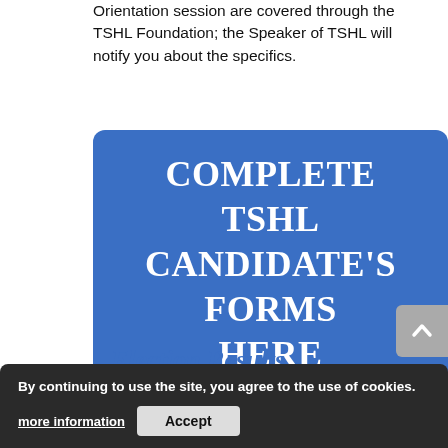Orientation session are covered through the TSHL Foundation; the Speaker of TSHL will notify you about the specifics.
[Figure (other): Blue rounded rectangle button with white bold serif text reading 'COMPLETE TSHL CANDIDATE'S FORMS HERE']
Election Results
Upon receipt of the ballots should an election occur, and receipt of the voter election certifications, the Area Agency on Aging will verify the results. If there are no discrepancies, the results shall be
By continuing to use the site, you agree to the use of cookies. more information  Accept